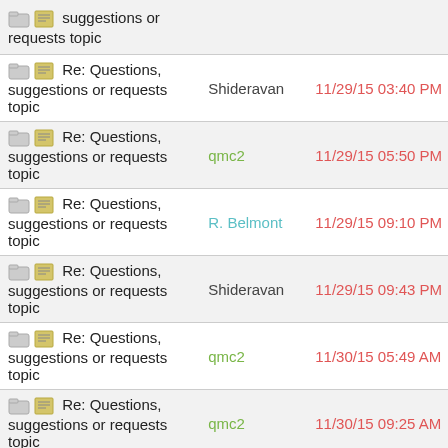| Topic | Author | Date/Time |
| --- | --- | --- |
| Re: Questions, suggestions or requests topic |  |  |
| Re: Questions, suggestions or requests topic | Shideravan | 11/29/15 03:40 PM |
| Re: Questions, suggestions or requests topic | qmc2 | 11/29/15 05:50 PM |
| Re: Questions, suggestions or requests topic | R. Belmont | 11/29/15 09:10 PM |
| Re: Questions, suggestions or requests topic | Shideravan | 11/29/15 09:43 PM |
| Re: Questions, suggestions or requests topic | qmc2 | 11/30/15 05:49 AM |
| Re: Questions, suggestions or requests topic | qmc2 | 11/30/15 09:25 AM |
| Re: Questions, suggestions or requests topic | qmc2 | 11/30/15 03:40 PM |
| Re: Questions, suggestions or requests topic | Praxis | 12/11/15 11:37 PM |
| Re: Questions, suggestions or requests topic | qmc2 | 12/12/15 12:36 AM |